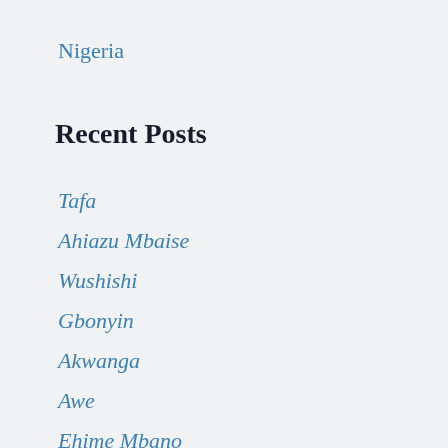Nigeria
Recent Posts
Tafa
Ahiazu Mbaise
Wushishi
Gbonyin
Akwanga
Awe
Ehime Mbano
Ijero